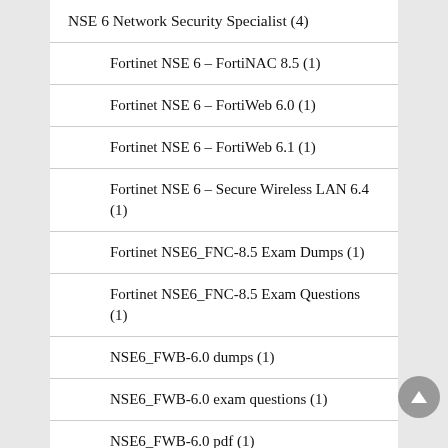NSE 6 Network Security Specialist (4)
Fortinet NSE 6 – FortiNAC 8.5 (1)
Fortinet NSE 6 – FortiWeb 6.0 (1)
Fortinet NSE 6 – FortiWeb 6.1 (1)
Fortinet NSE 6 – Secure Wireless LAN 6.4 (1)
Fortinet NSE6_FNC-8.5 Exam Dumps (1)
Fortinet NSE6_FNC-8.5 Exam Questions (1)
NSE6_FWB-6.0 dumps (1)
NSE6_FWB-6.0 exam questions (1)
NSE6_FWB-6.0 pdf (1)
NSE6_FWB-6.0 practice test (1)